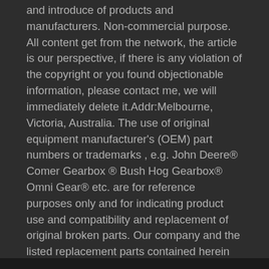and introduce of products and manufacturers. Non-commercial purpose. All content get from the network, the article is our perspective, if there is any violation of the copyright or you found objectionable information, please contact me, we will immediately delete it.Addr:Melbourne, Victoria, Australia. The use of original equipment manufacturer's (OEM) part numbers or trademarks , e.g. John Deere® Comer Gearbox ® Bush Hog Gearbox® Omni Gear® etc. are for reference purposes only and for indicating product use and compatibility and replacement of original broken parts. Our company and the listed replacement parts contained herein are not sponsored, approved, or manufactured by the OEM. gearcoupling.top